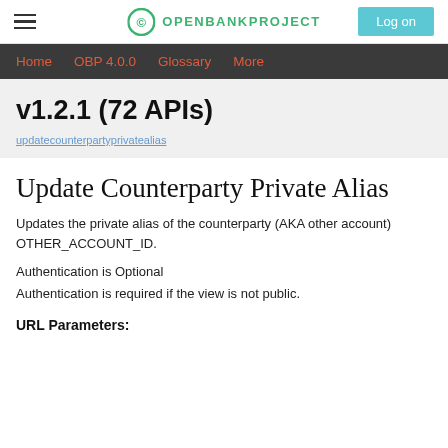OPENBANKPROJECT | Log on
Home  OBP 4.0.0  Glossary  More
v1.2.1 (72 APIs)
Update Counterparty Private Alias
Updates the private alias of the counterparty (AKA other account) OTHER_ACCOUNT_ID.
Authentication is Optional
Authentication is required if the view is not public.
URL Parameters: